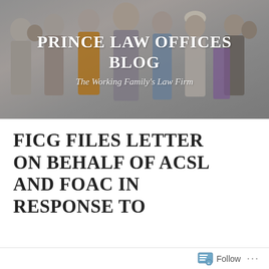[Figure (photo): Banner photo of a diverse group of working people including professionals in various occupations, with a dark overlay]
PRINCE LAW OFFICES BLOG
The Working Family's Law Firm
FICG FILES LETTER ON BEHALF OF ACSL AND FOAC IN RESPONSE TO
Follow ...